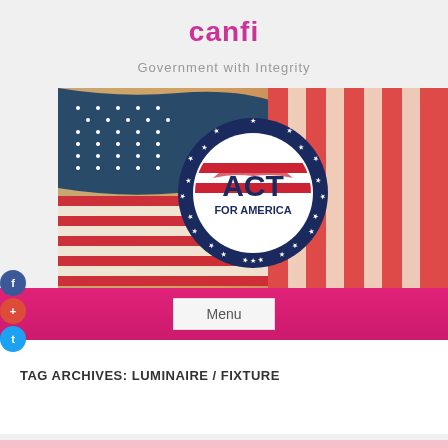canfi
Government with Integrity
[Figure (photo): Banner image showing an American flag background with the ACT FOR AMERICA circular logo in the center. The logo has a blue star border, red and white stripes inside, and the text 'ACT FOR AMERICA' in blue and white.]
Menu
TAG ARCHIVES: LUMINAIRE / FIXTURE